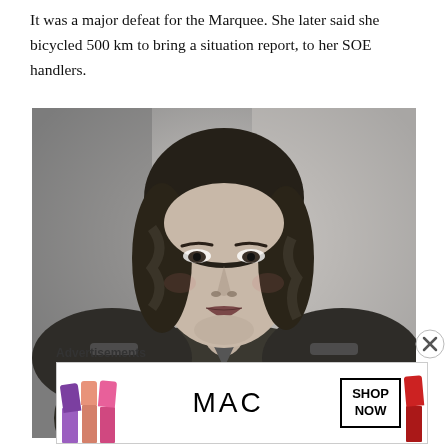It was a major defeat for the Marquee. She later said she bicycled 500 km to bring a situation report, to her SOE handlers.
[Figure (photo): Black and white portrait photograph of a woman in military uniform with shoulder epaulettes and a wing badge, looking at the camera with a composed expression. Her dark hair is styled in waves.]
Advertisements
[Figure (photo): Advertisement banner for MAC cosmetics showing colorful lipsticks on the left (purple, peach, pink, red), the MAC logo in the center, and a 'SHOP NOW' button in a black-bordered box on the right.]